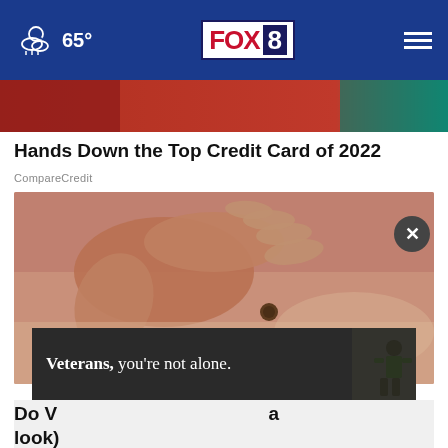65° FOX 8
[Figure (photo): Partially visible advertisement banner with red and teal background]
Hands Down the Top Credit Card of 2022
CompareCredit
[Figure (photo): Close-up photo of a hand examining a mole on a person's skin]
Veterans, you're not alone.
Do V a look)